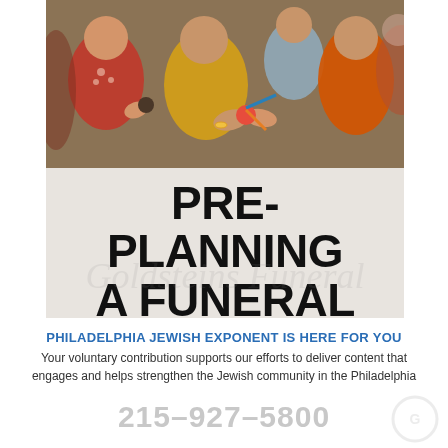[Figure (photo): Family photo showing multiple people of various ages, some in colorful clothing (red, yellow, orange), sharing food or objects together]
PRE-PLANNING A FUNERAL IS A GIFT TO YOUR FAMILY
PHILADELPHIA JEWISH EXPONENT IS HERE FOR YOU
Your voluntary contribution supports our efforts to deliver content that engages and helps strengthen the Jewish community in the Philadelphia area.
CONTRIBUTE
215-927-5800